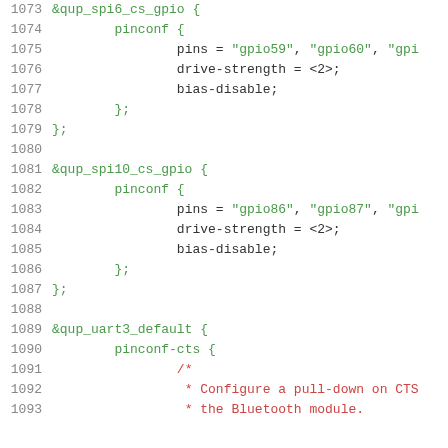Source code listing lines 1073-1093, device tree / pinctrl configuration in C-like syntax